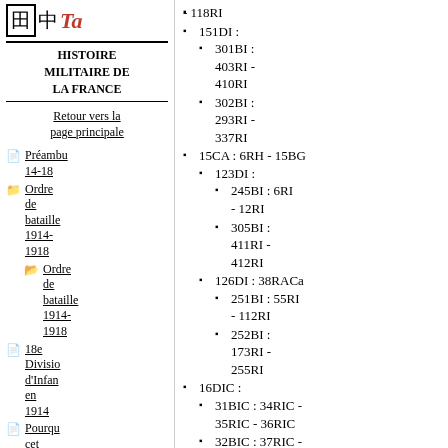Histoire militaire de la France
Retour vers la page principale
Préambu 14-18
Ordre de bataille 1914-1918
18e Divisio d'Infan en 1914
Pourqu cet ordre de bataille ?
Histoire des...
- 118RI
151DI :
  301BI : 403RI - 410RI
  302BI : 293RI - 337RI
15CA : 6RH - 15BG
  123DI :
    245BI : 6RI - 12RI
    305BI : 411RI - 412RI
  126DI : 38RACa
    251BI : 55RI - 112RI
    252BI : 173RI - 255RI
16DIC :
  31BIC : 34RIC - 35RIC - 36RIC
  32BIC : 37RIC - 38RIC - 44RIC
3A :
  5CA : 8RCh - 45RACa -